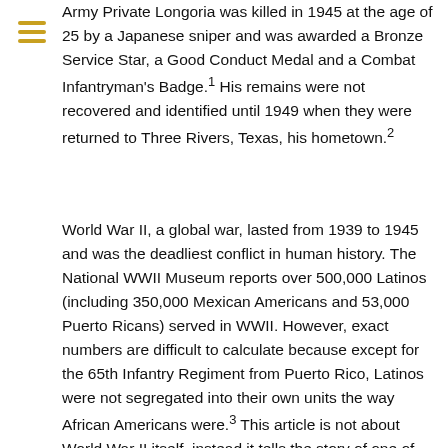Army Private Longoria was killed in 1945 at the age of 25 by a Japanese sniper and was awarded a Bronze Service Star, a Good Conduct Medal and a Combat Infantryman's Badge.¹ His remains were not recovered and identified until 1949 when they were returned to Three Rivers, Texas, his hometown.²
World War II, a global war, lasted from 1939 to 1945 and was the deadliest conflict in human history. The National WWII Museum reports over 500,000 Latinos (including 350,000 Mexican Americans and 53,000 Puerto Ricans) served in WWII. However, exact numbers are difficult to calculate because except for the 65th Infantry Regiment from Puerto Rico, Latinos were not segregated into their own units the way African Americans were.³ This article is not about World War II itself, instead it tells the story of one of our own Mexican American World War II h…